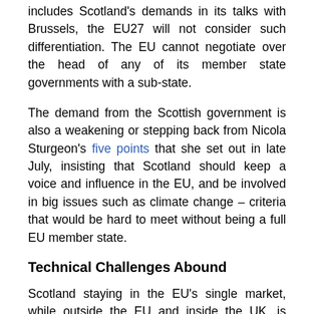includes Scotland's demands in its talks with Brussels, the EU27 will not consider such differentiation. The EU cannot negotiate over the head of any of its member state governments with a sub-state.
The demand from the Scottish government is also a weakening or stepping back from Nicola Sturgeon's five points that she set out in late July, insisting that Scotland should keep a voice and influence in the EU, and be involved in big issues such as climate change – criteria that would be hard to meet without being a full EU member state.
Technical Challenges Abound
Scotland staying in the EU's single market, while outside the EU and inside the UK, is essentially applying the Norway model to Scotland but as a sub-state. It raises numerous technical challenges